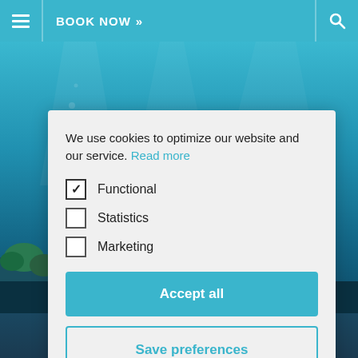BOOK NOW »
[Figure (screenshot): Underwater ocean scene with coral reef, blue water, and marine life as background image]
We use cookies to optimize our website and our service. Read more
✓ Functional
☐ Statistics
☐ Marketing
Accept all
Save preferences
SUSTAINABILITY / APRIL 30, 2019